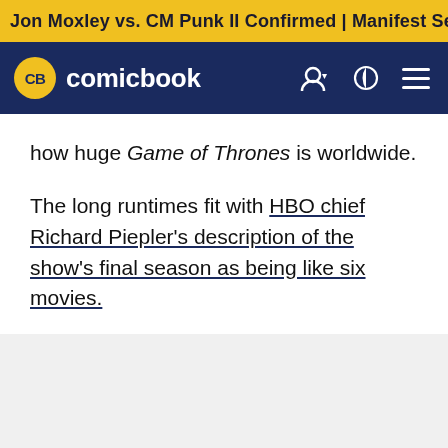Jon Moxley vs. CM Punk II Confirmed | Manifest Season 4 Pr
CB comicbook
how huge Game of Thrones is worldwide.
The long runtimes fit with HBO chief Richard Piepler's description of the show's final season as being like six movies.